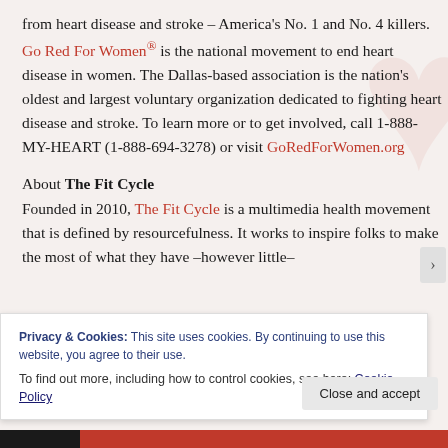from heart disease and stroke – America's No. 1 and No. 4 killers. Go Red For Women® is the national movement to end heart disease in women. The Dallas-based association is the nation's oldest and largest voluntary organization dedicated to fighting heart disease and stroke. To learn more or to get involved, call 1-888-MY-HEART (1-888-694-3278) or visit GoRedForWomen.org
About The Fit Cycle
Founded in 2010, The Fit Cycle is a multimedia health movement that is defined by resourcefulness. It works to inspire folks to make the most of what they have –however little– to stay active, be resourceful, and live on a…
Privacy & Cookies: This site uses cookies. By continuing to use this website, you agree to their use.
To find out more, including how to control cookies, see here: Cookie Policy
Close and accept